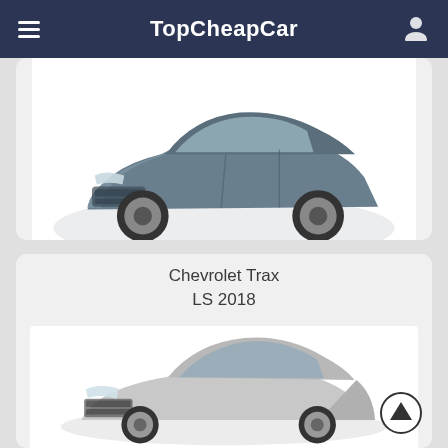TopCheapCar
[Figure (photo): Partial view of a gray Chevrolet SUV (Equinox) on a white background]
Price: $24081
Year: 2018
Chevrolet Trax LS 2018
[Figure (photo): Partial view of a silver Chevrolet Trax on a white background]